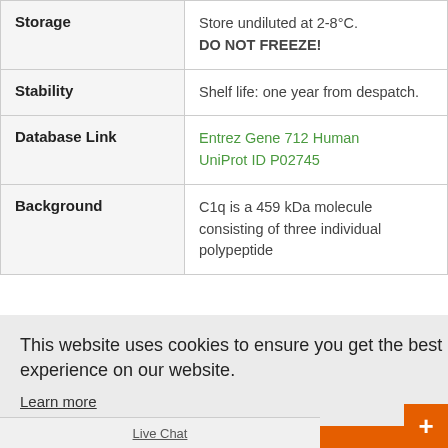| Field | Value |
| --- | --- |
| Storage | Store undiluted at 2-8°C.
DO NOT FREEZE! |
| Stability | Shelf life: one year from despatch. |
| Database Link | Entrez Gene 712 Human
UniProt ID P02745 |
| Background | C1q is a 459 kDa molecule consisting of three individual polypeptide |
This website uses cookies to ensure you get the best experience on our website.
Learn more
Got it!
Live Chat